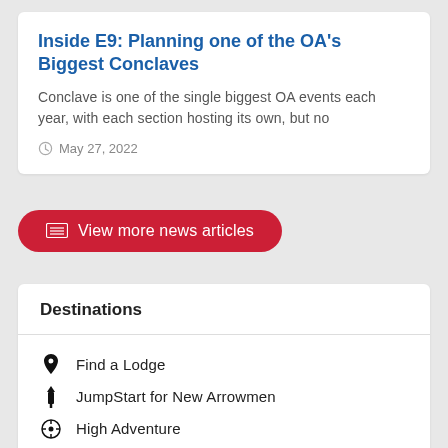Inside E9: Planning one of the OA's Biggest Conclaves
Conclave is one of the single biggest OA events each year, with each section hosting its own, but no
May 27, 2022
View more news articles
Destinations
Find a Lodge
JumpStart for New Arrowmen
High Adventure
Training
OA LodgeMaster
Frequently Asked Questions